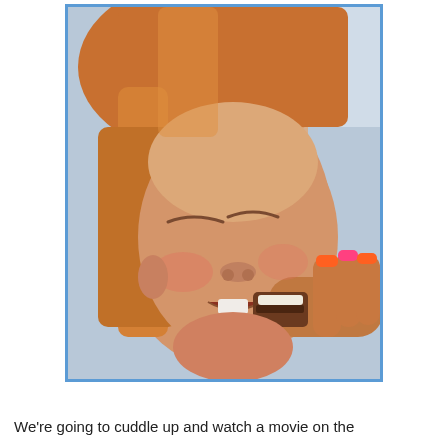[Figure (photo): A young girl with red/blonde hair and closed eyes eating a s'more or chocolate treat, with colorful painted fingernails. Photo has a blue border.]
We're going to cuddle up and watch a movie on the